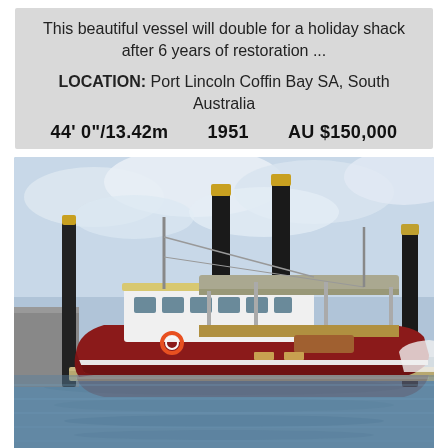This beautiful vessel will double for a holiday shack after 6 years of restoration ...
LOCATION:  Port Lincoln Coffin Bay SA, South Australia
44' 0"/13.42m    1951    AU $150,000
[Figure (photo): A red-hulled wooden vessel moored at a marina dock. The boat has a white superstructure/cabin, a large awning/canopy over the rear deck, and tall black pylons visible in the background. Calm water reflects the vessel.]